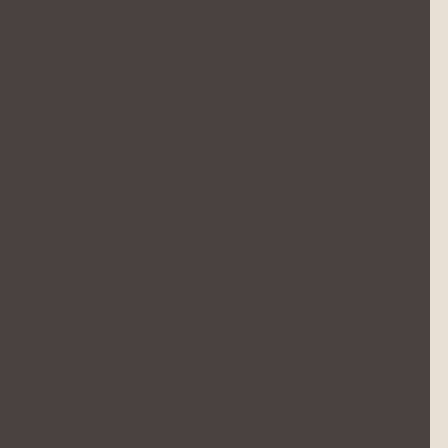purchases. Union County, through outreach, has a higher amount of no-till conservation ag... counties.
Union County has also had excellent su... UCCD has worked with farmers and has... sect farmers. The partnership between ... Turtle Creek and now on Conley Run.
“It’s the day-to-day strong working relati... work so well in Union County,” explained... and Waterways Conservancy. “The Uni... UCCD have a vision for the county in wh... consider the long-term consequences, i... leadership.”
“We are pleased to honor such strong p... working lands and natural resources,” s... Land Trust Association. “On behalf of th... conservation community, we thank the U... leadership and tremendous conservatio...
The award was presented on May 6 in c... Conservation Conference in Lancaster...